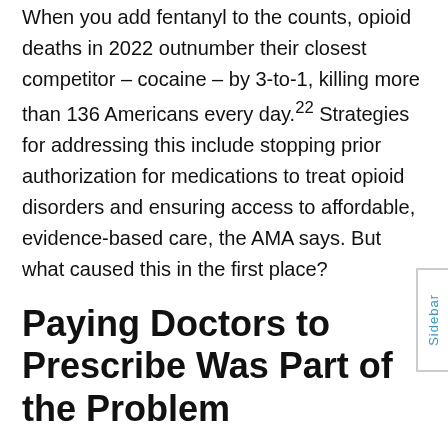When you add fentanyl to the counts, opioid deaths in 2022 outnumber their closest competitor – cocaine – by 3-to-1, killing more than 136 Americans every day.²² Strategies for addressing this include stopping prior authorization for medications to treat opioid disorders and ensuring access to affordable, evidence-based care, the AMA says. But what caused this in the first place?
Paying Doctors to Prescribe Was Part of the Problem
One of the reasons for this appeared early on to be financial. As reported by CNN in 2018, "The more opioids doctors prescribe, the more money they make."²³ According to an analysis by CNN and